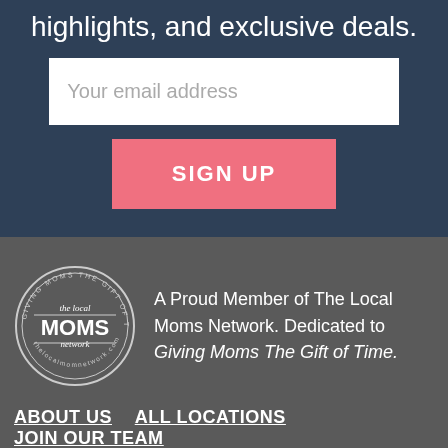highlights, and exclusive deals.
Your email address
SIGN UP
[Figure (logo): The Local Moms Network circular stamp logo with text 'Giving Moms The Gift of Time' around the border and 'the local MOMS network' in the center]
A Proud Member of The Local Moms Network. Dedicated to Giving Moms The Gift of Time.
ABOUT US    ALL LOCATIONS    JOIN OUR TEAM
About The Local Moms Network